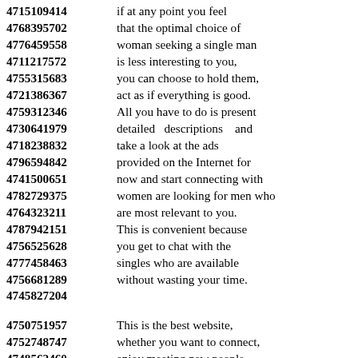4715109414 if at any point you feel
4768395702 that the optimal choice of
4776459558 woman seeking a single man
4711217572 is less interesting to you,
4755315683 you can choose to hold them,
4721386367 act as if everything is good.
4759312346 All you have to do is present
4730641979 detailed descriptions and
4718238832 take a look at the ads
4796594842 provided on the Internet for
4741500651 now and start connecting with
4782729375 women are looking for men who
4764323211 are most relevant to you.
4787942151 This is convenient because
4756525628 you get to chat with the
4777458463 singles who are available
4756681289 without wasting your time.
4745827204

4750751957 This is the best website,
4752748747 whether you want to connect,
4748562460 enjoy meeting new people
4716758728 or you begin to experience
4776430480 other kinds of interests
4788773778 with women seeking men.
4730909816 A website is the best way
4770335773 for more something for d...